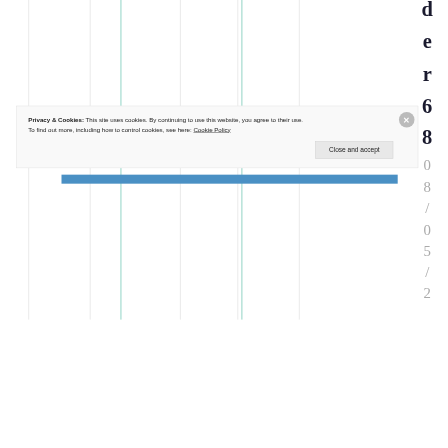[Figure (other): Partial view of a table or chart with vertical column lines on white background, and rotated text on the right side reading 'der 68 08/05/2']
Privacy & Cookies: This site uses cookies. By continuing to use this website, you agree to their use.
To find out more, including how to control cookies, see here: Cookie Policy
Close and accept